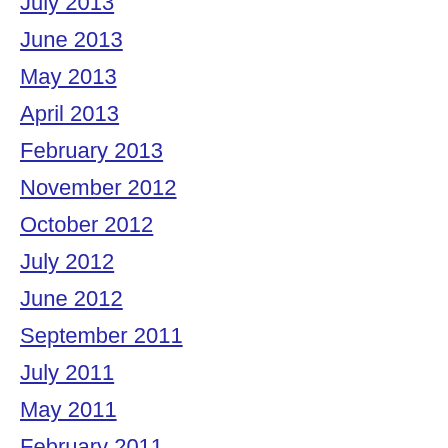July 2013
June 2013
May 2013
April 2013
February 2013
November 2012
October 2012
July 2012
June 2012
September 2011
July 2011
May 2011
February 2011